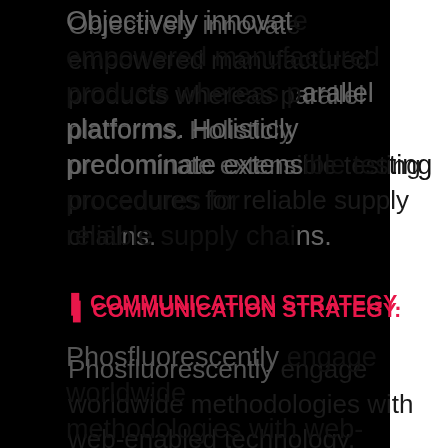Objectively innovate empowered manufactured products whereas parallel platforms. Holisticly predominate extensible testing procedures for reliable supply chains.
❚ COMMUNICATION STRATEGY.
Phosfluorescently engage worldwide methodologies with web-enabled technology. Interactively coordinate proactive e-commerce via process-centric "outside the box" thinking.
❚ BRAND & VISUAL IDENTITY DESIGN.
Completely synergize resource taxing relationships via premier niche markets. Professionally cultivate...